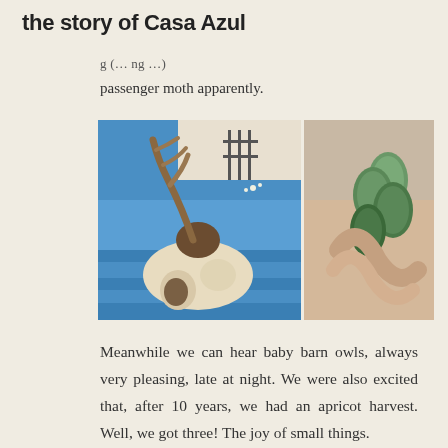the story of Casa Azul
passenger moth apparently.
[Figure (photo): Two side-by-side photos: left shows a deer skull with antlers placed on a blue wooden surface with a blue wall and plants in the background; right shows a close-up of green caterpillars or chrysalises held in a hand.]
Meanwhile we can hear baby barn owls, always very pleasing, late at night. We were also excited that, after 10 years, we had an apricot harvest. Well, we got three! The joy of small things.